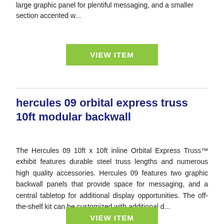large graphic panel for plentiful messaging, and a smaller section accented w...
VIEW ITEM
hercules 09 orbital express truss 10ft modular backwall
The Hercules 09 10ft x 10ft inline Orbital Express Truss™ exhibit features durable steel truss lengths and numerous high quality accessories. Hercules 09 features two graphic backwall panels that provide space for messaging, and a central tabletop for additional display opportunities. The off-the-shelf kit can be customized with additional d...
VIEW ITEM